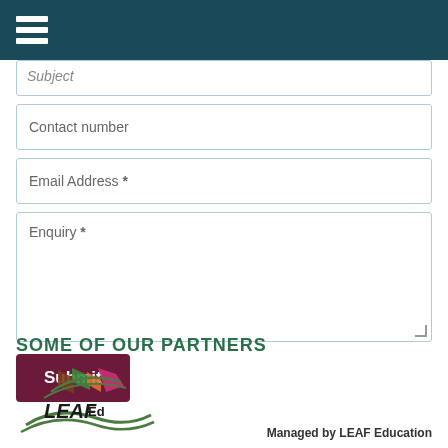Navigation menu (hamburger icon)
Subject
Contact number
Email Address *
Enquiry *
Submit
SOME OF OUR PARTNERS
[Figure (logo): LEAF Education logo with colourful overlapping diamond shapes above stylized green wave lines and the text LEAFEd]
Managed by LEAF Education